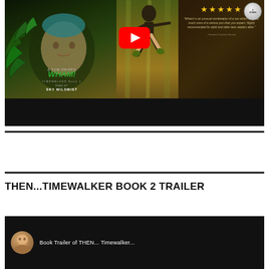[Figure (screenshot): YouTube video thumbnail for WHAM! Timewalker Book 1 audiobook trailer. Shows book cover with teal-haired woman, title in green italic text, author names, a jumping silhouette figure, and a review section with 5 gold stars and a Readers' Favorite Review quote. Red YouTube play button overlay in center. Small circular badge top right.]
THEN...TIMEWALKER BOOK 2  TRAILER
[Figure (screenshot): YouTube video thumbnail for Book Trailer of THEN... Timewalker Book 2. Shows a woman's face/avatar circle on a dark background with white text.]